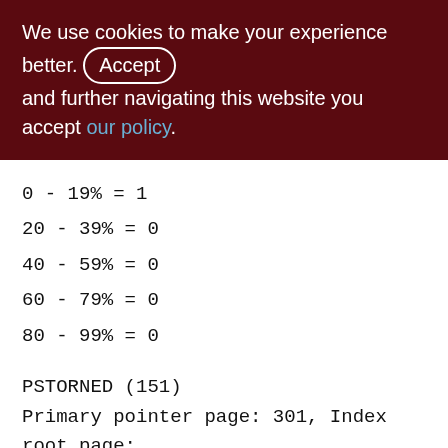We use cookies to make your experience better. By accepting and further navigating this website you accept our policy.
0 - 19% = 1
20 - 39% = 0
40 - 59% = 0
60 - 79% = 0
80 - 99% = 0
PSTORNED (151)
Primary pointer page: 301, Index root page: 302
Total formats: 1, used formats: 1
Average record length: 55.20, total records: 486537